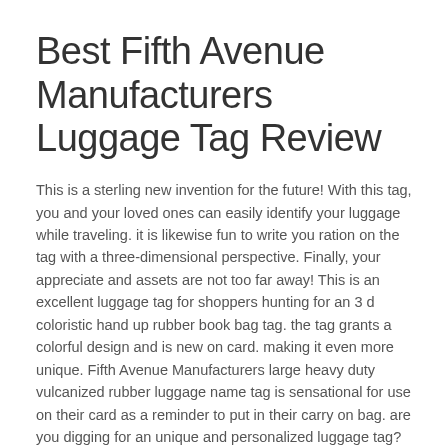Best Fifth Avenue Manufacturers Luggage Tag Review
This is a sterling new invention for the future! With this tag, you and your loved ones can easily identify your luggage while traveling. it is likewise fun to write you ration on the tag with a three-dimensional perspective. Finally, your appreciate and assets are not too far away! This is an excellent luggage tag for shoppers hunting for an 3 d coloristic hand up rubber book bag tag. the tag grants a colorful design and is new on card. making it even more unique. Fifth Avenue Manufacturers large heavy duty vulcanized rubber luggage name tag is sensational for use on their card as a reminder to put in their carry on bag. are you digging for an unique and personalized luggage tag? Search no more than Fifth Avenue manufacturers. Our letter-sized luggage tag is